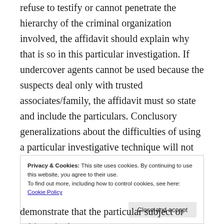refuse to testify or cannot penetrate the hierarchy of the criminal organization involved, the affidavit should explain why that is so in this particular investigation. If undercover agents cannot be used because the suspects deal only with trusted associates/family, the affidavit must so state and include the particulars. Conclusory generalizations about the difficulties of using a particular investigative technique will not suffice. It is not enough, for example, to state that the use of undercover agents is always difficult in organized crime
Privacy & Cookies: This site uses cookies. By continuing to use this website, you agree to their use.
To find out more, including how to control cookies, see here: Cookie Policy
demonstrate that the particular subject or subjects in the